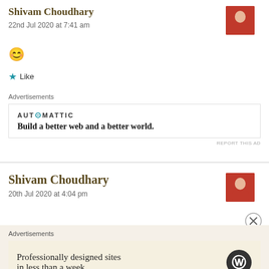Shivam Choudhary
22nd Jul 2020 at 7:41 am
😊
★ Like
Advertisements
AUTOMATTIC
Build a better web and a better world.
REPORT THIS AD
Shivam Choudhary
20th Jul 2020 at 4:04 pm
Advertisements
Professionally designed sites in less than a week
REPORT THIS AD